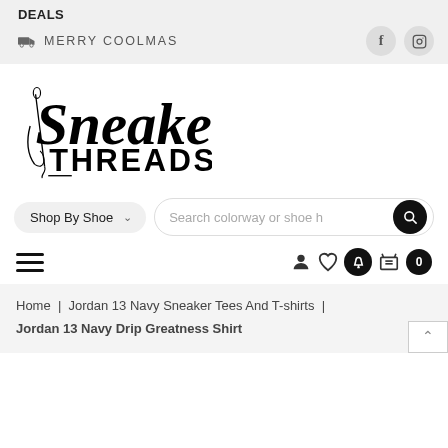DEALS
MERRY COOLMAS
[Figure (logo): Sneaker Threads script logo in black on white background]
Shop By Shoe  Search colorway or shoe h
Home | Jordan 13 Navy Sneaker Tees And T-shirts | Jordan 13 Navy Drip Greatness Shirt